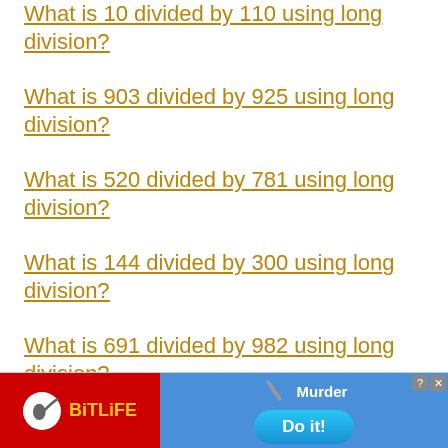What is 10 divided by 110 using long division?
What is 903 divided by 925 using long division?
What is 520 divided by 781 using long division?
What is 144 divided by 300 using long division?
What is 691 divided by 982 using long division?
What is [partially visible] using long division?
[Figure (screenshot): BitLife advertisement banner with red background on the left showing the BitLife logo (sperm icon in white circle and yellow BITLIFE text), and blue background on the right showing a diagonal pencil/pen image with 'Murder' text and 'Do it!' button. Close (X) and help (?) icons in top right corner.]